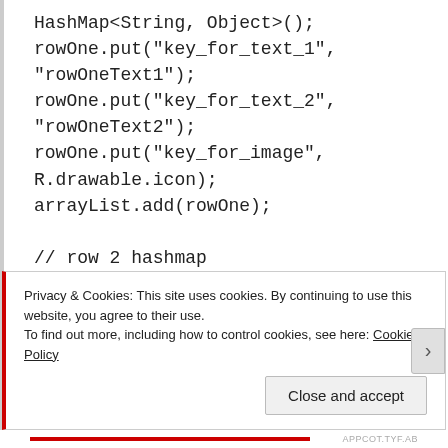HashMap<String, Object>();
rowOne.put("key_for_text_1",
"rowOneText1");
rowOne.put("key_for_text_2",
"rowOneText2");
rowOne.put("key_for_image",
R.drawable.icon);
arrayList.add(rowOne);

// row 2 hashmap
HashMap<String, Object> rowTwo= new
HashMap<String, Object>();
rowTwo.put("key_for_text_1",
Privacy & Cookies: This site uses cookies. By continuing to use this website, you agree to their use.
To find out more, including how to control cookies, see here: Cookie Policy